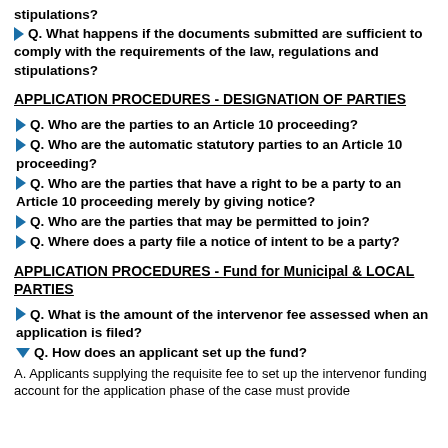stipulations?
Q. What happens if the documents submitted are sufficient to comply with the requirements of the law, regulations and stipulations?
APPLICATION PROCEDURES - DESIGNATION OF PARTIES
Q. Who are the parties to an Article 10 proceeding?
Q. Who are the automatic statutory parties to an Article 10 proceeding?
Q. Who are the parties that have a right to be a party to an Article 10 proceeding merely by giving notice?
Q. Who are the parties that may be permitted to join?
Q. Where does a party file a notice of intent to be a party?
APPLICATION PROCEDURES - Fund for Municipal & LOCAL PARTIES
Q. What is the amount of the intervenor fee assessed when an application is filed?
Q. How does an applicant set up the fund?
A. Applicants supplying the requisite fee to set up the intervenor funding account for the application phase of the case must provide